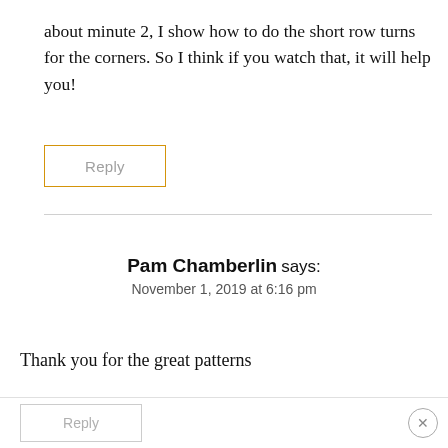about minute 2, I show how to do the short row turns for the corners. So I think if you watch that, it will help you!
Reply
Pam Chamberlin says:
November 1, 2019 at 6:16 pm
Thank you for the great patterns
Reply